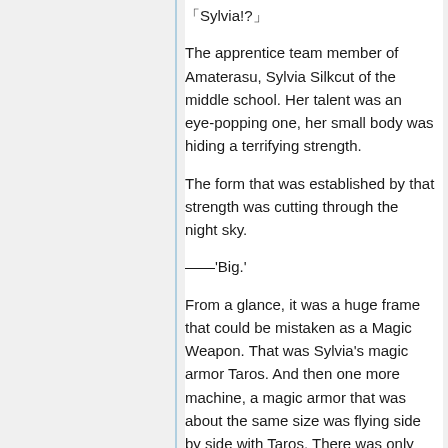「Sylvia!?」
The apprentice team member of Amaterasu, Sylvia Silkcut of the middle school. Her talent was an eye-popping one, her small body was hiding a terrifying strength.
The form that was established by that strength was cutting through the night sky.
——'Big.'
From a glance, it was a huge frame that could be mistaken as a Magic Weapon. That was Sylvia's magic armor Taros. And then one more machine, a magic armor that was about the same size was flying side by side with Taros. There was only one thing that had a huge body that wasn't inferior to Taros. It was the magic armor Demon. The magic armor of